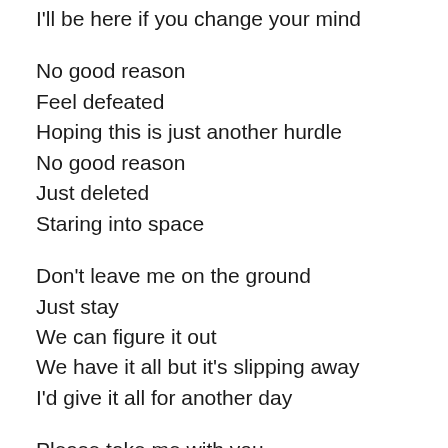I'll be here if you change your mind
No good reason
Feel defeated
Hoping this is just another hurdle
No good reason
Just deleted
Staring into space
Don't leave me on the ground
Just stay
We can figure it out
We have it all but it's slipping away
I'd give it all for another day
Please take me with you
I can't do this
It's the end of me